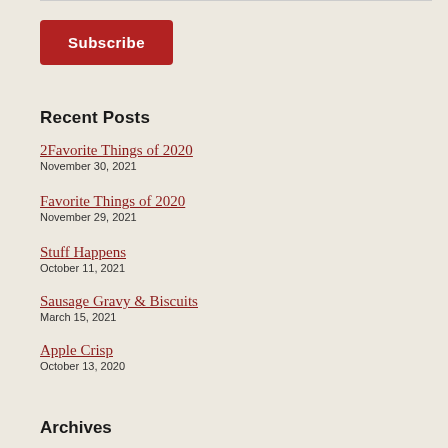[Figure (other): Subscribe button — red rounded rectangle with white bold text 'Subscribe']
Recent Posts
2Favorite Things of 2020
November 30, 2021
Favorite Things of 2020
November 29, 2021
Stuff Happens
October 11, 2021
Sausage Gravy & Biscuits
March 15, 2021
Apple Crisp
October 13, 2020
Archives